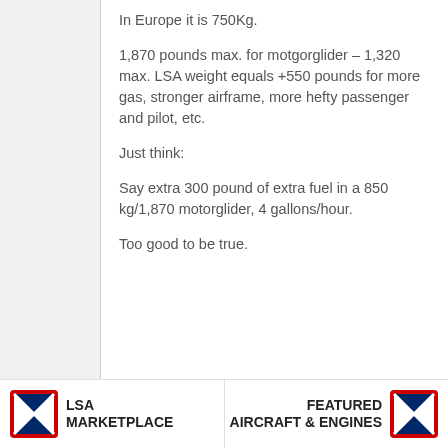In Europe it is 750Kg.
1,870 pounds max. for motgorglider – 1,320 max. LSA weight equals +550 pounds for more gas, stronger airframe, more hefty passenger and pilot, etc.
Just think:
Say extra 300 pound of extra fuel in a 850 kg/1,870 motorglider, 4 gallons/hour.
Too good to be true.
LSA MARKETPLACE   FEATURED AIRCRAFT & ENGINES